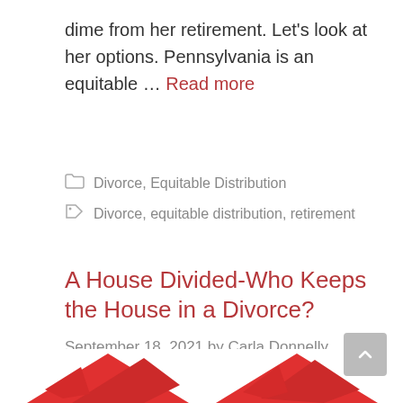dime from her retirement. Let's look at her options. Pennsylvania is an equitable … Read more
Categories: Divorce, Equitable Distribution
Tags: Divorce, equitable distribution, retirement
A House Divided-Who Keeps the House in a Divorce?
September 18, 2021 by Carla Donnelly
[Figure (illustration): Partial illustration showing red rooftop/house shapes, cropped at the bottom of the page]